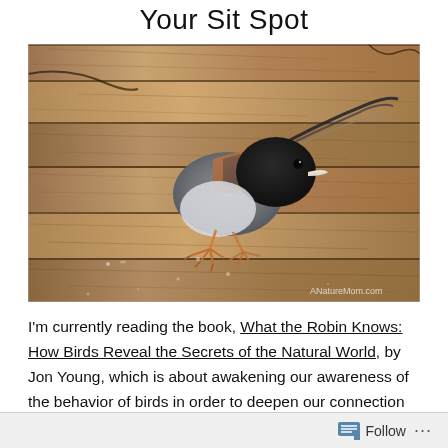Your Sit Spot
[Figure (photo): Close-up photo of a dark-eyed junco bird standing on weathered wooden planks/deck boards. The bird has a black head, gray breast, and rusty-brown wings. Watermark reads ANatureMom.com in lower right corner.]
I'm currently reading the book, What the Robin Knows: How Birds Reveal the Secrets of the Natural World, by Jon Young, which is about awakening our awareness of the behavior of birds in order to deepen our connection with all
Follow ...